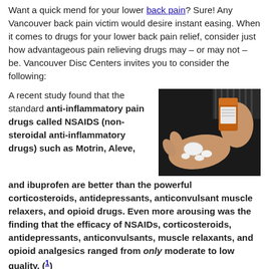Want a quick mend for your lower back pain? Sure! Any Vancouver back pain victim would desire instant easing. When it comes to drugs for your lower back pain relief, consider just how advantageous pain relieving drugs may – or may not – be. Vancouver Disc Centers invites you to consider the following:
A recent study found that the standard anti-inflammatory pain drugs called NSAIDS (non-steroidal anti-inflammatory drugs) such as Motrin, Aleve, and ibuprofen are better than the powerful corticosteroids, antidepressants, anticonvulsant muscle relaxers, and opioid drugs. Even more arousing was the finding that the efficacy of NSAIDs, corticosteroids, antidepressants, anticonvulsants, muscle relaxants, and opioid analgesics ranged from only moderate to low quality. (1)
[Figure (photo): A person's open hand receiving white pills being poured from an orange prescription bottle, photographed against a dark background.]
Now, at Vancouver Disc Centers, we know that decreasing or removing pain drugs profits your general health by not adversely affecting your liver, heart, kidney and brain, common side effects from these drugs, and when these drugs are taken...